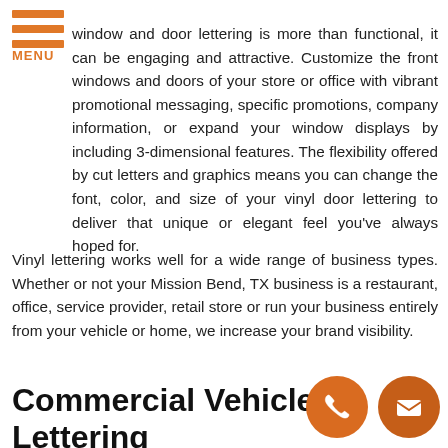[Figure (logo): Orange hamburger menu icon with three horizontal bars and MENU text label in orange below]
window and door lettering is more than functional, it can be engaging and attractive. Customize the front windows and doors of your store or office with vibrant promotional messaging, specific promotions, company information, or expand your window displays by including 3-dimensional features. The flexibility offered by cut letters and graphics means you can change the font, color, and size of your vinyl door lettering to deliver that unique or elegant feel you've always hoped for.
Vinyl lettering works well for a wide range of business types. Whether or not your Mission Bend, TX business is a restaurant, office, service provider, retail store or run your business entirely from your vehicle or home, we increase your brand visibility.
Commercial Vehicle Lettering
[Figure (illustration): Two orange circular icons side by side: a phone/call icon and an envelope/email icon]